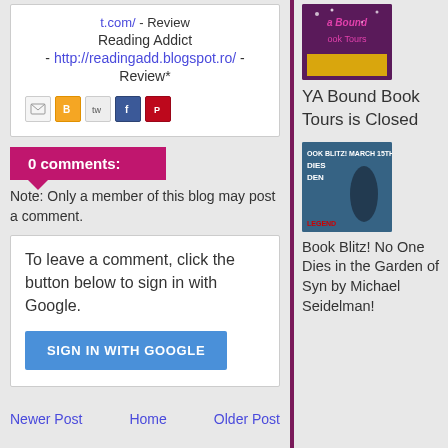t.com/ - Review
Reading Addict
- http://readingadd.blogspot.ro/ -
Review*
[Figure (screenshot): Social share icons: email, blogger, twitter, facebook, pinterest]
0 comments:
Note: Only a member of this blog may post a comment.
To leave a comment, click the button below to sign in with Google.
SIGN IN WITH GOOGLE
Newer Post     Home     Older Post
[Figure (illustration): YA Bound Book Tours logo - purple background with stars and text]
YA Bound Book Tours is Closed
[Figure (illustration): Book Blitz March 15th - No One Dies in the Garden of Syn book cover, dark atmospheric image]
Book Blitz! No One Dies in the Garden of Syn by Michael Seidelman!